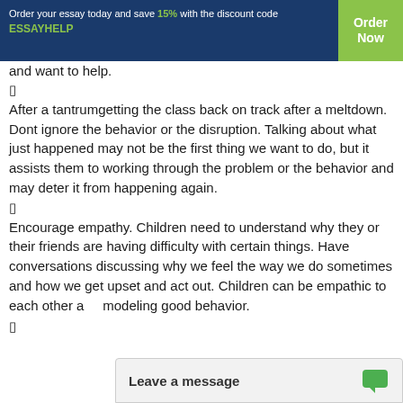Order your essay today and save 15% with the discount code ESSAYHELP | Order Now
and want to help.
⁇
After a tantrum—getting the class back on track after a meltdown. Don’t ignore the behavior or the disruption. Talking about what just happened may not be the first thing we want to do, but it assists them to working through the problem or the behavior and may deter it from happening again.
⁇
Encourage empathy. Children need to understand why they or their friends are having difficulty with certain things. Have conversations discussing why we feel the way we do sometimes and how we get upset and act out. Children can be empathic to each other and modeling good behavior.
Leave a message